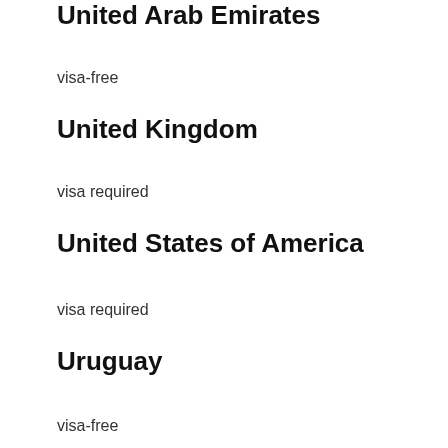United Arab Emirates
visa-free
United Kingdom
visa required
United States of America
visa required
Uruguay
visa-free
US Virgin Islands